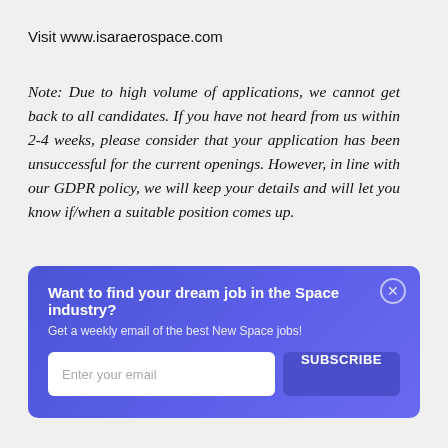Visit www.isaraerospace.com
Note: Due to high volume of applications, we cannot get back to all candidates. If you have not heard from us within 2-4 weeks, please consider that your application has been unsuccessful for the current openings. However, in line with our GDPR policy, we will keep your details and will let you know if/when a suitable position comes up.
Want to find your dream job in the Space industry?
Get a weekly email of the best New Space jobs!